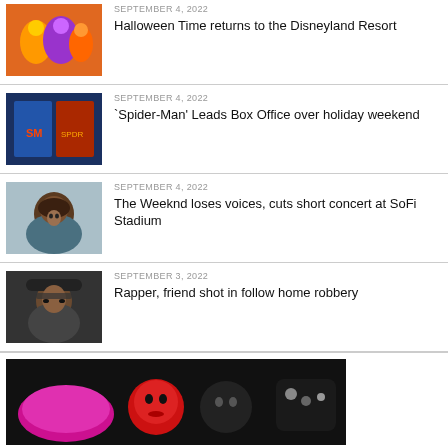[Figure (photo): Disney characters in Halloween costumes at Disneyland]
SEPTEMBER 4, 2022
Halloween Time returns to the Disneyland Resort
[Figure (photo): Spider-Man movie promo image on screens]
SEPTEMBER 4, 2022
'Spider-Man' Leads Box Office over holiday weekend
[Figure (photo): Portrait of The Weeknd]
SEPTEMBER 4, 2022
The Weeknd loses voices, cuts short concert at SoFi Stadium
[Figure (photo): Rapper wearing sunglasses and hat]
SEPTEMBER 3, 2022
Rapper, friend shot in follow home robbery
[Figure (photo): Crocs shoes with heart Jibbitz charms in pink, red and black]